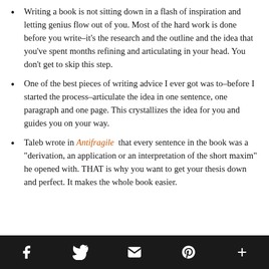Writing a book is not sitting down in a flash of inspiration and letting genius flow out of you. Most of the hard work is done before you write–it's the research and the outline and the idea that you've spent months refining and articulating in your head. You don't get to skip this step.
One of the best pieces of writing advice I ever got was to–before I started the process–articulate the idea in one sentence, one paragraph and one page. This crystallizes the idea for you and guides you on your way.
Taleb wrote in Antifragile that every sentence in the book was a "derivation, an application or an interpretation of the short maxim" he opened with. THAT is why you want to get your thesis down and perfect. It makes the whole book easier.
f  [twitter]  [email]  p  +